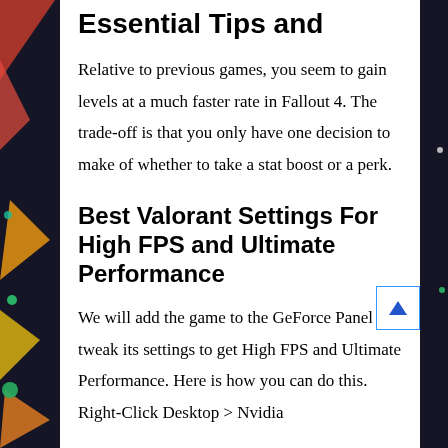Essential Tips and
Relative to previous games, you seem to gain levels at a much faster rate in Fallout 4. The trade-off is that you only have one decision to make of whether to take a stat boost or a perk.
Best Valorant Settings For High FPS and Ultimate Performance
We will add the game to the GeForce Panel and tweak its settings to get High FPS and Ultimate Performance. Here is how you can do this. Right-Click Desktop > Nvidia